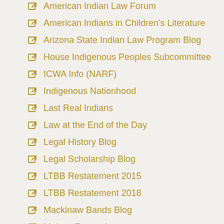American Indian Law Forum
American Indians in Children's Literature
Arizona State Indian Law Program Blog
House Indigenous Peoples Subcommittee
ICWA Info (NARF)
Indigenous Nationhood
Last Real Indians
Law at the End of the Day
Legal History Blog
Legal Scholarship Blog
LTBB Restatement 2015
LTBB Restatement 2018
Mackinaw Bands Blog
Mukwa Enewed
NARF...